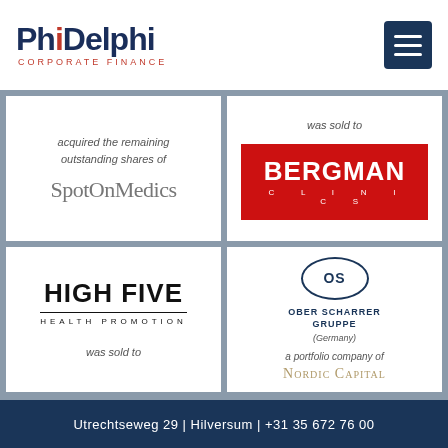[Figure (logo): PhiDelphi Corporate Finance logo with navy and red text]
[Figure (infographic): Four transaction cards in a 2x2 grid showing M&A deal tombstones: SpotOnMedics acquired, Bergman Clinics sold to, High Five Health Promotion sold, Ober Scharrer Gruppe portfolio company of Nordic Capital]
Utrechtseweg 29 | Hilversum | +31 35 672 76 00